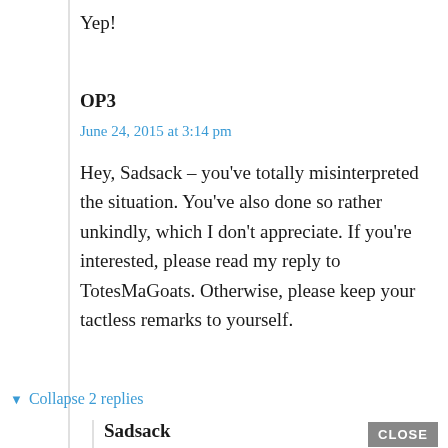Yep!
OP3
June 24, 2015 at 3:14 pm
Hey, Sadsack – you've totally misinterpreted the situation. You've also done so rather unkindly, which I don't appreciate. If you're interested, please read my reply to TotesMaGoats. Otherwise, please keep your tactless remarks to yourself.
▼ Collapse 2 replies
Sadsack
June 24, 2015 at 3:38 pm
Sorry, I only had what you wrote to go on